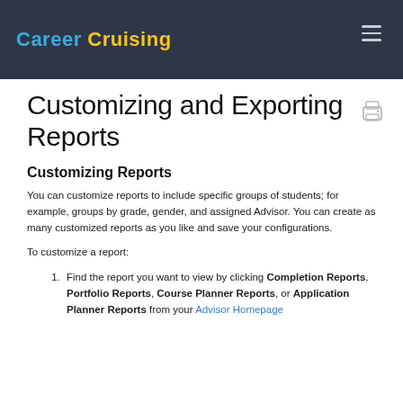Career Cruising
Customizing and Exporting Reports
Customizing Reports
You can customize reports to include specific groups of students; for example, groups by grade, gender, and assigned Advisor. You can create as many customized reports as you like and save your configurations.
To customize a report:
Find the report you want to view by clicking Completion Reports, Portfolio Reports, Course Planner Reports, or Application Planner Reports from your Advisor Homepage